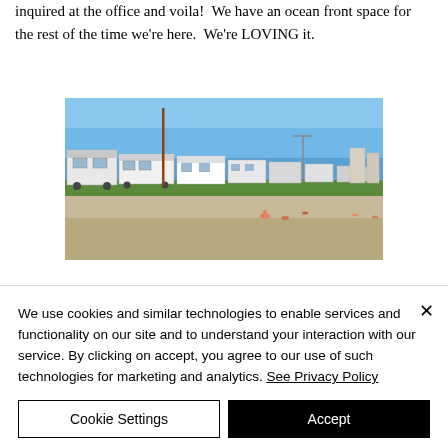inquired at the office and voila!  We have an ocean front space for the rest of the time we're here.  We're LOVING it.
[Figure (photo): Outdoor beach scene showing a row of RVs and trailers parked along a sandy beach under a clear blue sky, with people relaxing on the sand.]
We use cookies and similar technologies to enable services and functionality on our site and to understand your interaction with our service. By clicking on accept, you agree to our use of such technologies for marketing and analytics. See Privacy Policy